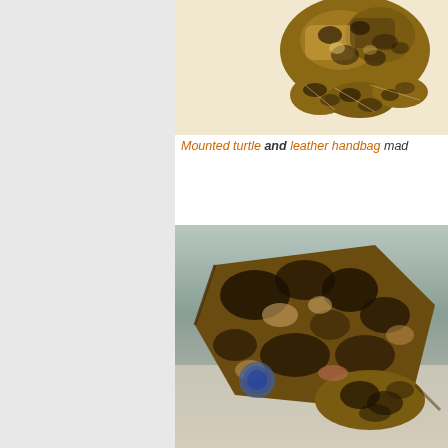[Figure (photo): Mounted turtle photograph showing dorsal view of a sea turtle with mottled brown and cream shell pattern against a cream/beige background, partially cropped]
Mounted turtle and leather handbag mad
[Figure (photo): Photograph of leather handbag or items made from sea turtle scutes/leather, showing mottled dark brown and cream patterned pieces arranged on a light background]